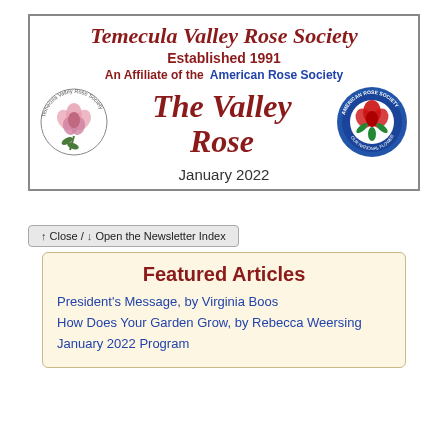[Figure (other): Temecula Valley Rose Society newsletter header banner with logos and title 'The Valley Rose January 2022']
↑ Close / ↓ Open the Newsletter Index
Featured Articles
President's Message, by Virginia Boos
How Does Your Garden Grow, by Rebecca Weersing
January 2022 Program